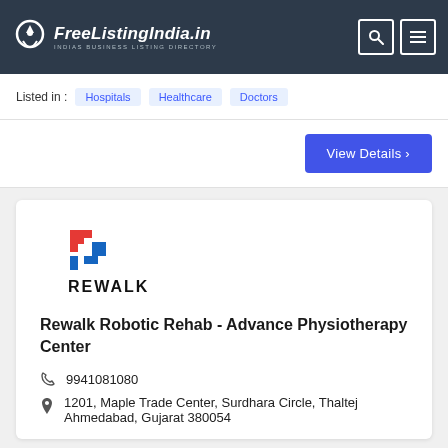FreeListingIndia.in — INDIAS BUSINESS LISTING DIRECTORY
Listed in : Hospitals  Healthcare  Doctors
View Details ›
[Figure (logo): Rewalk logo — red and blue stair-step graphic above bold text REWALK]
Rewalk Robotic Rehab - Advance Physiotherapy Center
9941081080
1201, Maple Trade Center, Surdhara Circle, Thaltej Ahmedabad, Gujarat 380054